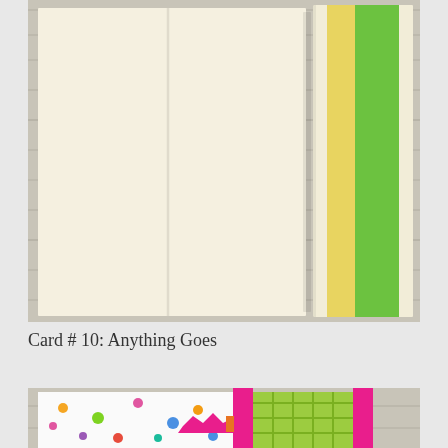[Figure (photo): Open card/notebook with cream-colored interior pages, showing a fold crease, with yellow and green decorative strips along the right edge, photographed on a white wood surface.]
Card # 10: Anything Goes
[Figure (photo): Partial view of colorful greeting cards with polka dot pattern, pink ribbon, and green plaid design on a wood surface.]